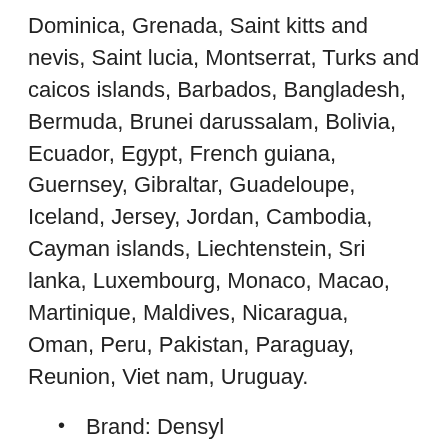Dominica, Grenada, Saint kitts and nevis, Saint lucia, Montserrat, Turks and caicos islands, Barbados, Bangladesh, Bermuda, Brunei darussalam, Bolivia, Ecuador, Egypt, French guiana, Guernsey, Gibraltar, Guadeloupe, Iceland, Jersey, Jordan, Cambodia, Cayman islands, Liechtenstein, Sri lanka, Luxembourg, Monaco, Macao, Martinique, Maldives, Nicaragua, Oman, Peru, Pakistan, Paraguay, Reunion, Viet nam, Uruguay.
Brand: Densyl
Model: unknown
MPN: unknown